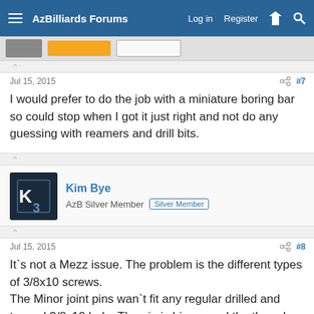AzBilliards Forums — Log in  Register
Jul 15, 2015  #7
I would prefer to do the job with a miniature boring bar so could stop when I got it just right and not do any guessing with reamers and drill bits.
Kim Bye
AzB Silver Member  Silver Member
Jul 15, 2015  #8
It`s not a Mezz issue. The problem is the different types of 3/8x10 screws.
The Minor joint pins wan`t fit any regular drilled and tapped 3/8x10 hole. The pin is bigger and the threads have a different angle.
You can bore the hole up or use a 3/8x10 tap and slowly make the threads larger so the Mezz will fit...